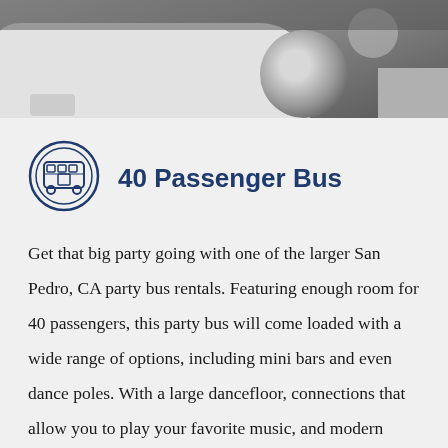[Figure (photo): Front/side view of a white party bus or large vehicle in a garage setting]
40 Passenger Bus
Get that big party going with one of the larger San Pedro, CA party bus rentals. Featuring enough room for 40 passengers, this party bus will come loaded with a wide range of options, including mini bars and even dance poles. With a large dancefloor, connections that allow you to play your favorite music, and modern sound systems, you and your friends should get ready to dance to